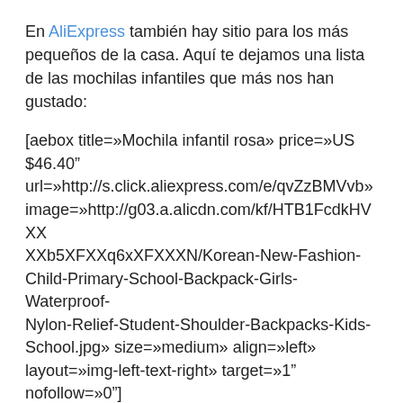En AliExpress también hay sitio para los más pequeños de la casa. Aquí te dejamos una lista de las mochilas infantiles que más nos han gustado:
[aebox title=»Mochila infantil rosa» price=»US $46.40" url=»http://s.click.aliexpress.com/e/qvZzBMVvb» image=»http://g03.a.alicdn.com/kf/HTB1FcdkHVXXXXb5XFXXq6xXFXXXN/Korean-New-Fashion-Child-Primary-School-Backpack-Girls-Waterproof-Nylon-Relief-Student-Shoulder-Backpacks-Kids-School.jpg» size=»medium» align=»left» layout=»img-left-text-right» target=»1" nofollow=»0"]
[aebox title=»Mochila Monster High» price=»US $30.88" url=»http://s.click.aliexpress.com/e/FUjQNjuJm»